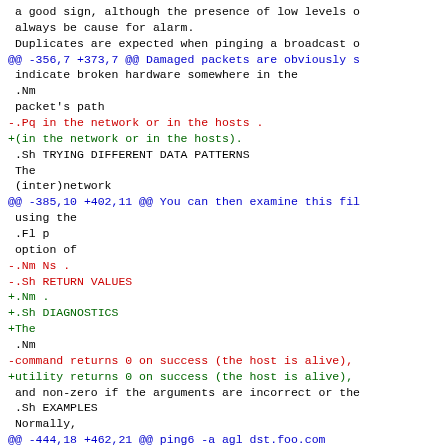a good sign, although the presence of low levels o
 always be cause for alarm.
 Duplicates are expected when pinging a broadcast o
@@ -356,7 +373,7 @@ Damaged packets are obviously s
indicate broken hardware somewhere in the
 .Nm
 packet's path
-.Pq in the network or in the hosts .
+(in the network or in the hosts).
.Sh TRYING DIFFERENT DATA PATTERNS
 The
 (inter)network
@@ -385,10 +402,11 @@ You can then examine this fil
using the
 .Fl p
 option of
-.Nm Ns .
-.Sh RETURN VALUES
+.Nm .
+.Sh DIAGNOSTICS
+The
.Nm
-command returns 0 on success (the host is alive),
+utility returns 0 on success (the host is alive),
and non-zero if the arguments are incorrect or the
 .Sh EXAMPLES
 Normally,
@@ -444,18 +462,21 @@ ping6 -a agl dst.foo.com
.Sh HISTORY
 The